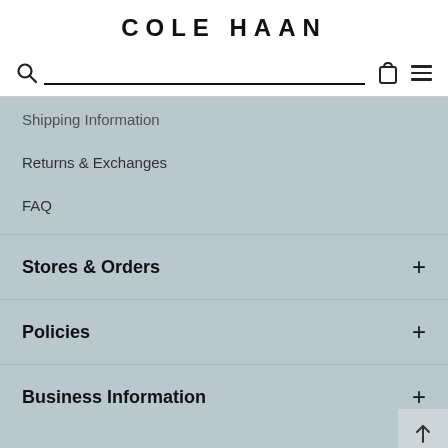COLE HAAN
Shipping Information
Returns & Exchanges
FAQ
Stores & Orders
Policies
Business Information
We use cookies to personalize content to provide social...